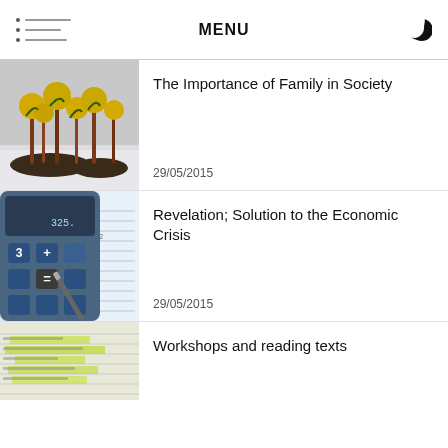MENU
[Figure (photo): Yellow ball-shaped fungi growing on thin stems in snow]
The Importance of Family in Society
29/05/2015
[Figure (photo): Calculator with pen on financial documents showing numbers]
Revelation; Solution to the Economic Crisis
29/05/2015
[Figure (photo): Document pages with yellow highlighter markings]
Workshops and reading texts